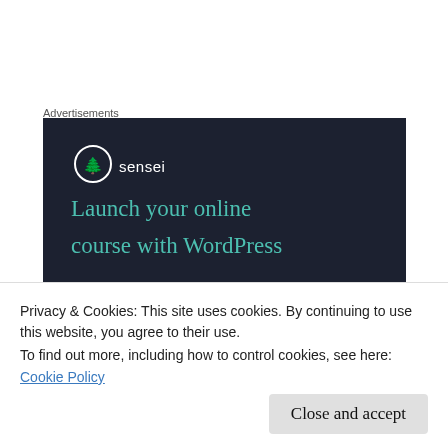Advertisements
[Figure (illustration): Sensei advertisement banner with dark navy background. Shows Sensei logo (tree icon in white circle) and text 'Launch your online course with WordPress' in teal/green color.]
The vase that survived this post is a Waterford posy vase (a gift from my parents on some
Privacy & Cookies: This site uses cookies. By continuing to use this website, you agree to their use.
To find out more, including how to control cookies, see here:
Cookie Policy
on Monday, please visit Cathy's IAOM post